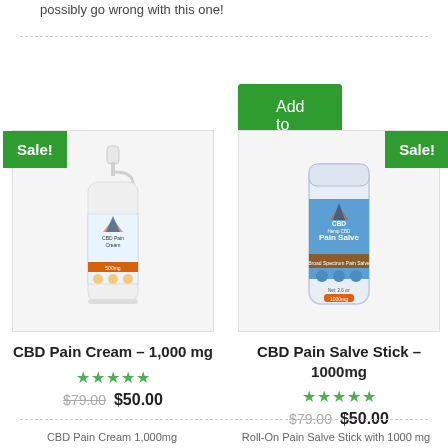possibly go wrong with this one!
Add to cart
[Figure (photo): CBD Pain Cream bottle with pump dispenser, labeled CBD Pain Cream with mountain logo, Sale badge]
CBD Pain Cream – 1,000 mg
★★★★★
$79.00  $50.00
[Figure (photo): CBD Pain Salve Stick container, labeled CBD Hemp CBD Pain Salve 1000mg with mountain logo, Sale badge]
CBD Pain Salve Stick – 1000mg
★★★★★
$79.00  $50.00
CBD Pain Cream 1,000mg
Roll-On Pain Salve Stick with 1000 mg